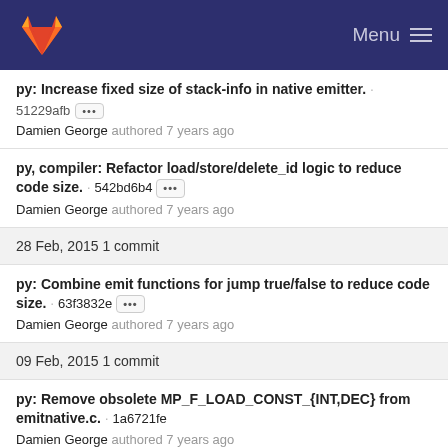Menu
py: Increase fixed size of stack-info in native emitter. · 51229afb ••• Damien George authored 7 years ago
py, compiler: Refactor load/store/delete_id logic to reduce code size. · 542bd6b4 ••• Damien George authored 7 years ago
28 Feb, 2015 1 commit
py: Combine emit functions for jump true/false to reduce code size. · 63f3832e ••• Damien George authored 7 years ago
09 Feb, 2015 1 commit
py: Remove obsolete MP_F_LOAD_CONST_{INT,DEC} from emitnative.c. · 1a6721fe Damien George authored 7 years ago